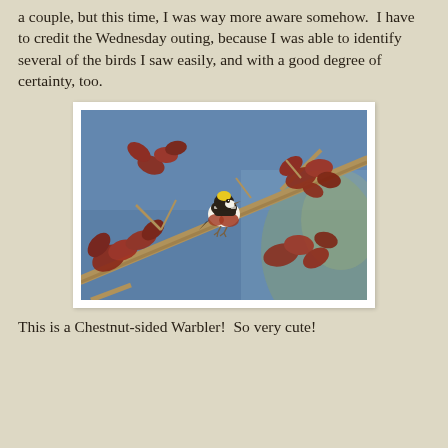a couple, but this time, I was way more aware somehow.  I have to credit the Wednesday outing, because I was able to identify several of the birds I saw easily, and with a good degree of certainty, too.
[Figure (photo): A small colorful bird (Chestnut-sided Warbler) perched on a bare branch with reddish maple leaves, against a blue sky background. The bird has yellow, black, white and chestnut-red plumage.]
This is a Chestnut-sided Warbler!  So very cute!